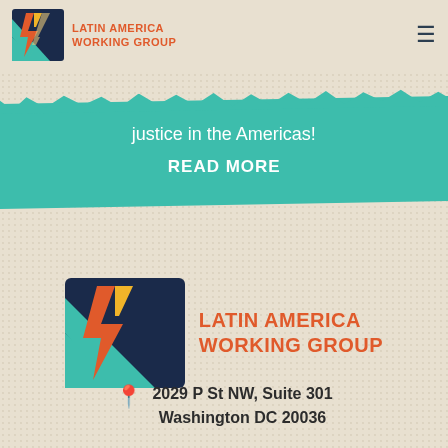[Figure (logo): Latin America Working Group logo — geometric zigzag shape in red, teal, dark blue with text 'LATIN AMERICA WORKING GROUP' in orange/red]
justice in the Americas!
READ MORE
[Figure (logo): Latin America Working Group logo (large) — geometric zigzag in red, teal, dark blue with text 'LATIN AMERICA WORKING GROUP' in orange/red]
2029 P St NW, Suite 301
Washington DC 20036